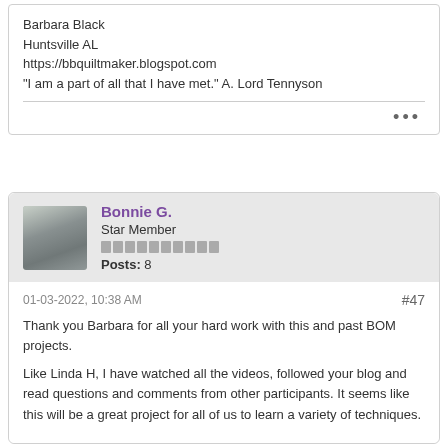Barbara Black
Huntsville AL
https://bbquiltmaker.blogspot.com
"I am a part of all that I have met." A. Lord Tennyson
Bonnie G.
Star Member
Posts: 8
01-03-2022, 10:38 AM
#47
Thank you Barbara for all your hard work with this and past BOM projects.

Like Linda H, I have watched all the videos, followed your blog and read questions and comments from other participants. It seems like this will be a great project for all of us to learn a variety of techniques.